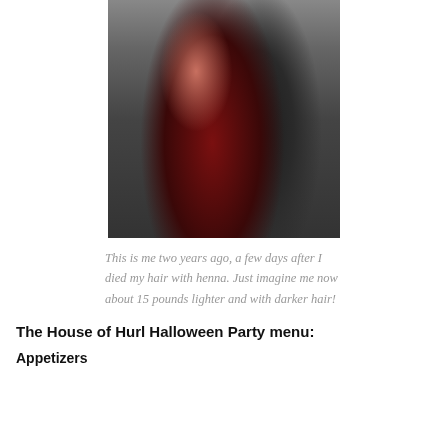[Figure (photo): Two people in Halloween costumes. Left person wears a black lace/velvet dress with reddish-brown hair. Right person wears a dark cape/coat over a dark red vest.]
This is me two years ago, a few days after I died my hair with henna. Just imagine me now about 15 pounds lighter and with darker hair!
The House of Hurl Halloween Party menu:
Appetizers